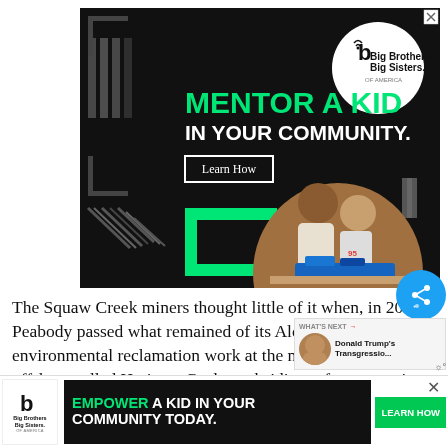[Figure (photo): Big Brothers Big Sisters of America advertisement banner with black background, green accent colors, text 'MENTOR A KID IN YOUR COMMUNITY.' with a Learn How button, and a photo of an adult man mentoring a child with a toy car. Logo in white circle top right.]
The Squaw Creek miners thought little of it when, in 2007, Peabody passed what remained of its Alcoa venture some environmental reclamation work at the mine 2014 to an offshoot called Heritage Coal, a subsidiary of a new entity Pe...
[Figure (photo): Bottom banner ad: Big Brothers Big Sisters of America with text 'EMPOWER A KID IN YOUR COMMUNITY TODAY.' and a green Learn How button on black background.]